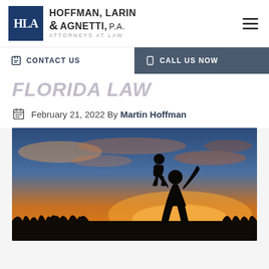HLA Hoffman, Larin & Agnetti, P.A. Attorneys at Law
CONTACT US | CALL US NOW
FLORIDA LAW
February 21, 2022 By Martin Hoffman
[Figure (photo): Silhouette of a parent lifting a child against a sunset sky with orange and blue tones, grass in the foreground.]